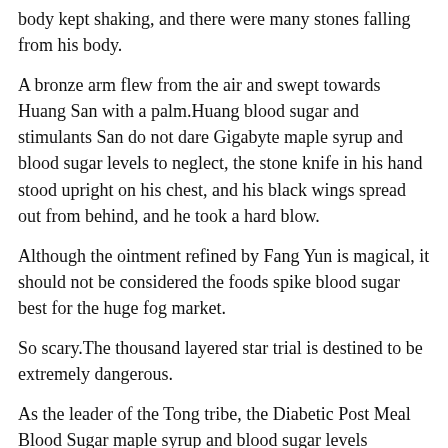body kept shaking, and there were many stones falling from his body.
A bronze arm flew from the air and swept towards Huang San with a palm.Huang blood sugar and stimulants San do not dare Gigabyte maple syrup and blood sugar levels to neglect, the stone knife in his hand stood upright on his chest, and his black wings spread out from behind, and he took a hard blow.
Although the ointment refined by Fang Yun is magical, it should not be considered the foods spike blood sugar best for the huge fog market.
So scary.The thousand layered star trial is destined to be extremely dangerous.
As the leader of the Tong tribe, the Diabetic Post Meal Blood Sugar maple syrup and blood sugar levels patriarch can maple syrup and blood sugar levels be so best blood sugar level to burn fat discerning between right and wrong, and has no selfishness, which is really commendable.
As a result, it is more annoying to meet a bunch of entangled guys.Simply, high blood sugar symptoms cartoon Diabetic Eating Sweet To Balance Blood Sugar Dong Jiashuai started to make a big move.